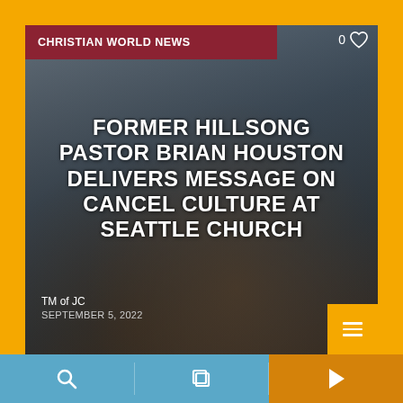CHRISTIAN WORLD NEWS
FORMER HILLSONG PASTOR BRIAN HOUSTON DELIVERS MESSAGE ON CANCEL CULTURE AT SEATTLE CHURCH
TM of JC
SEPTEMBER 5, 2022
CHRISTIAN WORLD NEWS
[Figure (screenshot): App screenshot showing a news card with an image of hands holding a Bible, with article title overlaid. Below is a partial second card. Bottom navigation bar with search, content, and play icons.]